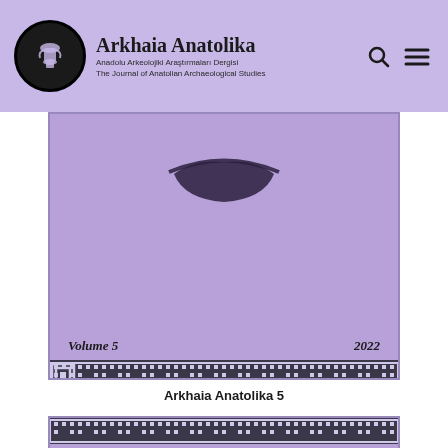Arkhaia Anatolika — Anadolu Arkeolojiki Araştırmaları Dergisi / The Journal of Anatolian Archaeological Studies
[Figure (illustration): Journal cover for Arkhaia Anatolika Volume 5, 2022. Purple/lavender background with a decorative ancient vessel silhouette at top center, 'Volume 5' on bottom left, '2022' on bottom right, and a Greek key meander border at the very bottom.]
Arkhaia Anatolika 5
[Figure (illustration): Partial view of another Arkhaia Anatolika journal cover. Shows the Greek key meander border at top, ISSN: 2651-4664 on the right, and the beginning of large bold 'Arkhaia Anatolika' title text at the bottom.]